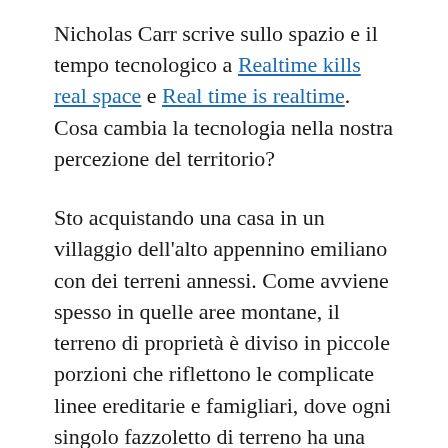Nicholas Carr scrive sullo spazio e il tempo tecnologico a Realtime kills real space e Real time is realtime. Cosa cambia la tecnologia nella nostra percezione del territorio?
Sto acquistando una casa in un villaggio dell'alto appennino emiliano con dei terreni annessi. Come avviene spesso in quelle aree montane, il terreno di proprietà è diviso in piccole porzioni che riflettono le complicate linee ereditarie e famigliari, dove ogni singolo fazzoletto di terreno ha una sua identità. I nomi dei campi sono dei più vari: talvolta si riferiscono a fatti avvenuti nel luogo, oppure a caratteristiche del territorio, e vi sono anche